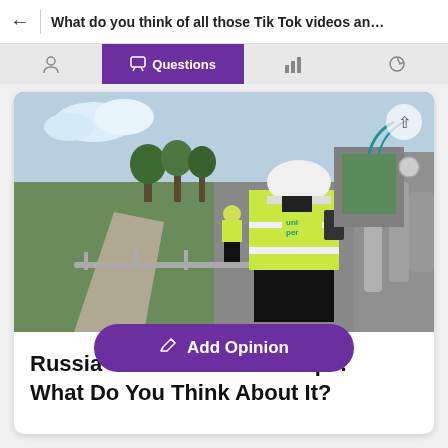What do you think of all those Tik Tok videos and challe...
[Figure (screenshot): App navigation tab bar with Questions tab highlighted in purple]
[Figure (photo): Worker in yellow high-visibility vest and white hard hat inspecting industrial gas pipeline equipment, Uniper logo visible on vest. Another worker in background on a pathway near green trees. Industrial pipes and valves on the right.]
Russia Cut...urope. What Do You Think About It?
[Figure (other): Add Opinion button overlay in purple pill shape with pencil icon]